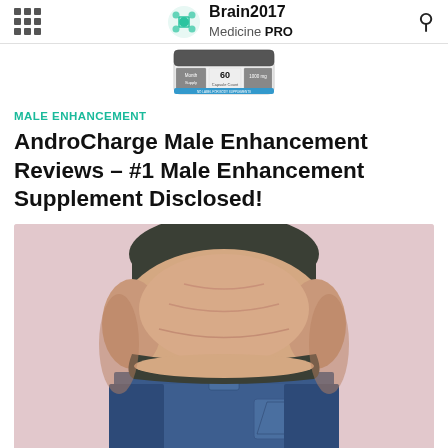Brain2017 Medicine PRO
[Figure (photo): Supplement bottle partially visible at top of page]
MALE ENHANCEMENT
AndroCharge Male Enhancement Reviews – #1 Male Enhancement Supplement Disclosed!
[Figure (photo): Person shown from behind wearing dark top and blue jeans, pink/lavender background, showing midsection/waist area]